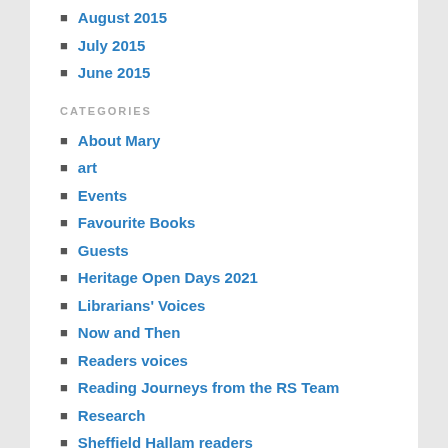August 2015
July 2015
June 2015
CATEGORIES
About Mary
art
Events
Favourite Books
Guests
Heritage Open Days 2021
Librarians' Voices
Now and Then
Readers voices
Reading Journeys from the RS Team
Research
Sheffield Hallam readers
Sheffield Libraries
Sheffield readers
The Artist
The Poet